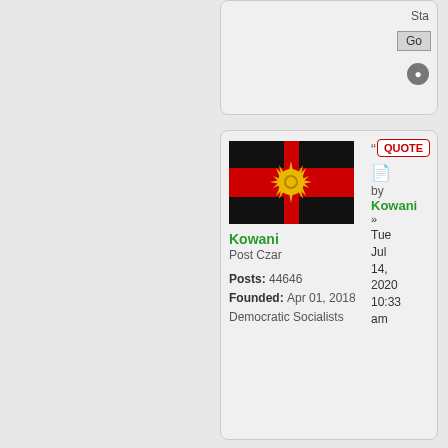[Figure (screenshot): Top partial card showing 'Sta...' text, a Go button, and a notification bell icon]
[Figure (screenshot): Forum post card showing user Kowani with a flag avatar (black/red/black stripes with gold sun), Post Czar title, Posts: 44646, Founded: Apr 01, 2018, Democratic Socialists, with QUOTE button and post timestamp Tue Jul 14, 2020 10:33 am]